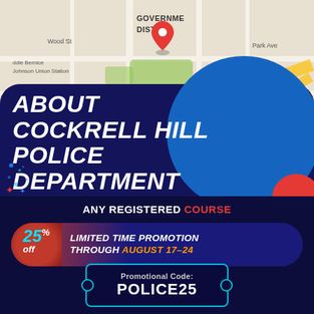[Figure (map): Google Maps street map showing Government District area with a red location pin marker, streets including Wood St, Marilla St, Park Ave, Browder, and labels for Saddie Bernice Johnson Union Station and Bailey area.]
ABOUT COCKRELL HILL POLICE DEPARTMENT TEST
Cockrell Hill Police Department has developed considerably over the past decade; a police department that has done much to modernise and provide continuation of community policing
ANY REGISTERED COURSE
25% off LIMITED TIME PROMOTION THROUGH AUGUST 17–24
Promotional Code: POLICE25